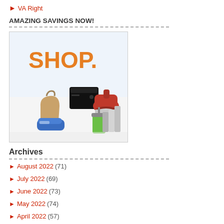VA Right
AMAZING SAVINGS NOW!
[Figure (illustration): Shopping banner with the word SHOP. in orange, and images of various products including a gaming console, a red KitchenAid mixer, a handbag, blue sneakers, a green smoothie, and books/bags stacked together.]
Archives
August 2022 (71)
July 2022 (69)
June 2022 (73)
May 2022 (74)
April 2022 (57)
March 2022 (79)
February 2022 (65)
January 2022 (58)